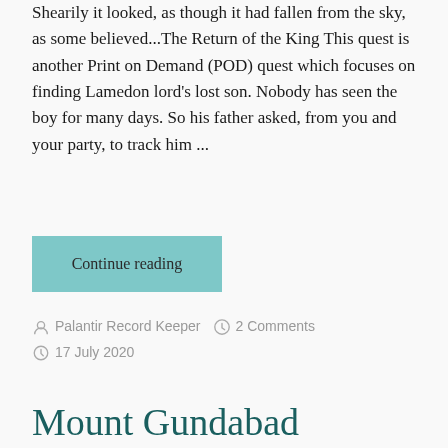Shearily it looked, as though it had fallen from the sky, as some believed...The Return of the King This quest is another Print on Demand (POD) quest which focuses on finding Lamedon lord's lost son. Nobody has seen the boy for many days. So his father asked, from you and your party, to track him ...
Continue reading
Palantir Record Keeper   2 Comments   17 July 2020
Mount Gundabad